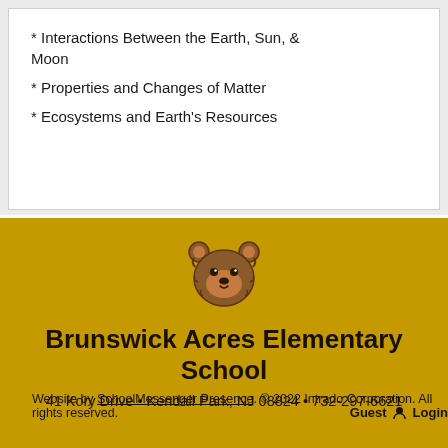* Interactions Between the Earth, Sun, & Moon
* Properties and Changes of Matter
* Ecosystems and Earth's Resources
[Figure (illustration): Cartoon bear head mascot logo for Brunswick Acres Elementary School]
Brunswick Acres Elementary School
41 Kory Drive • Kendall Park, NJ 08824 • 732-297-6621
Website by SchoolMessenger Presence. © 2022 Intrado Corporation. All rights reserved. Guest  Login